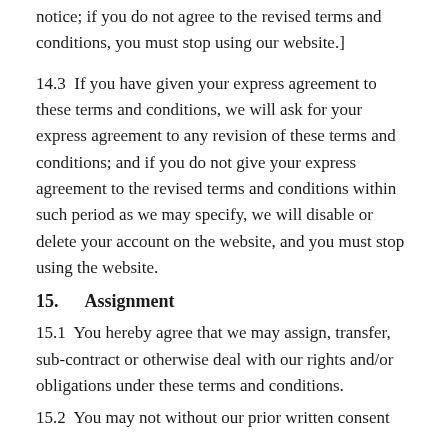notice; if you do not agree to the revised terms and conditions, you must stop using our website.]
14.3  If you have given your express agreement to these terms and conditions, we will ask for your express agreement to any revision of these terms and conditions; and if you do not give your express agreement to the revised terms and conditions within such period as we may specify, we will disable or delete your account on the website, and you must stop using the website.
15.      Assignment
15.1  You hereby agree that we may assign, transfer, sub-contract or otherwise deal with our rights and/or obligations under these terms and conditions.
15.2  You may not without our prior written consent